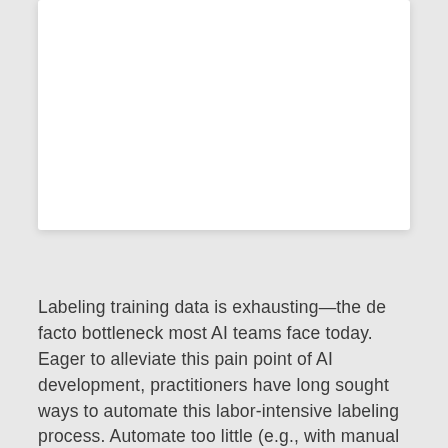[Figure (other): White rectangular card or figure placeholder with drop shadow, partially cropped at the top of the page.]
Labeling training data is exhausting—the de facto bottleneck most AI teams face today. Eager to alleviate this pain point of AI development, practitioners have long sought ways to automate this labor-intensive labeling process. Automate too little (e.g., with manual